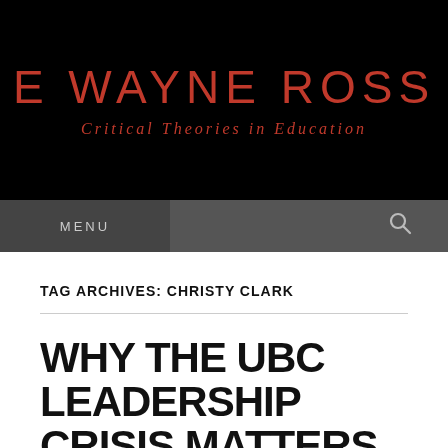E WAYNE ROSS
Critical Theories in Education
MENU
TAG ARCHIVES: CHRISTY CLARK
WHY THE UBC LEADERSHIP CRISIS MATTERS BEYOND